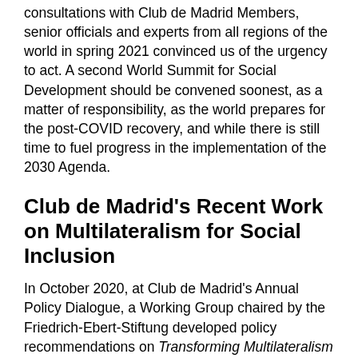consultations with Club de Madrid Members, senior officials and experts from all regions of the world in spring 2021 convinced us of the urgency to act. A second World Summit for Social Development should be convened soonest, as a matter of responsibility, as the world prepares for the post-COVID recovery, and while there is still time to fuel progress in the implementation of the 2030 Agenda.
Club de Madrid's Recent Work on Multilateralism for Social Inclusion
In October 2020, at Club de Madrid's Annual Policy Dialogue, a Working Group chaired by the Friedrich-Ebert-Stiftung developed policy recommendations on Transforming Multilateralism for 21st Century Social Justice and Inclusion. They made proposals on social protection, tax reform and debt relief; and they called for a new global compact on social development.
In December 2020, on occasion of the commemoration of the 25th anniversary of the World Summit for Social